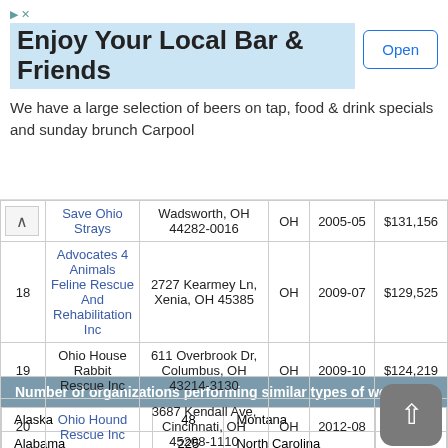[Figure (other): Advertisement banner: Enjoy Your Local Bar & Friends with Open button]
| # | Name | Address | State | Year | Amount |
| --- | --- | --- | --- | --- | --- |
|  | Save Ohio Strays | Wadsworth, OH 44282-0016 | OH | 2005-05 | $131,156 |
| 18 | Advocates 4 Animals Feline Rescue And Rehabilitation Inc | 2727 Kearmey Ln, Xenia, OH 45385 | OH | 2009-07 | $129,525 |
| 19 | Ohio House Rabbit Rescue Inc | 611 Overbrook Dr, Columbus, OH 43214-3130 | OH | 2009-10 | $124,219 |
| 20 | Ohio Hound Rescue Inc | 3687 Kendall Ave, Cincinnati, OH 45208-1110 | OH | 2012-08 | $116,965 |
| State | Count | State | Count |
| --- | --- | --- | --- |
| Alaska | 48 | Montana |  |
| Alabama | 225 | North Carolina |  |
| Arkansas | 195 | North Dakota | 21 |